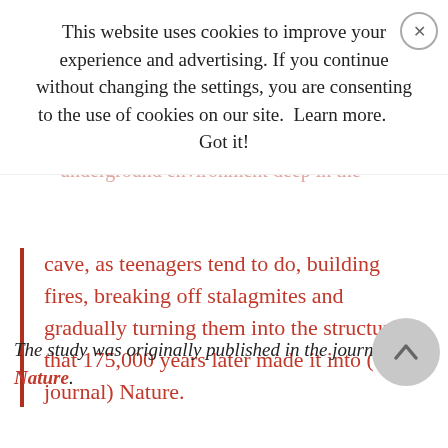This website uses cookies to improve your experience and advertising. If you continue without changing the settings, you are consenting to the use of cookies on our site.  Learn more.      Got it!
cave, as teenagers tend to do, building fires, breaking off stalagmites and gradually turning them into the structures that 175,000 years later made it into (the journal) Nature.
The study was originally published in the journal Nature.